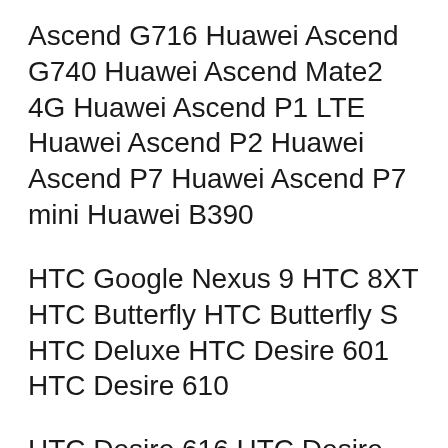Ascend G716 Huawei Ascend G740 Huawei Ascend Mate2 4G Huawei Ascend P1 LTE Huawei Ascend P2 Huawei Ascend P7 Huawei Ascend P7 mini Huawei B390
HTC Google Nexus 9 HTC 8XT HTC Butterfly HTC Butterfly S HTC Deluxe HTC Desire 601 HTC Desire 610
HTC Desire 616 HTC Desire 816 HTC Desire 820 HTC DROID DNA HTC DROID Incredible 4G LTE HTC